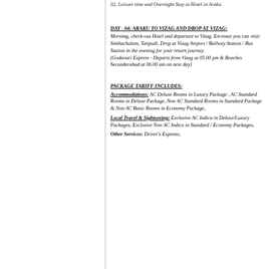02, Leisure time and Overnight Stay at Hotel in Araku.
DAY - 04: ARAKU TO VIZAG AND DROP AT VIZAG:
Morning, check-out Hotel and departure to Vizag. En-route you can visit: Simhachalam, Tatipudi. Drop at Vizag Airport / Railway Station / Bus Station in the evening for your return journey. (Godavari Express - Departs from Vizag at 05.00 pm & Reaches Secunderabad at 06.00 am on next day)
PACKAGE TARIFF INCLUDES:
Accommodations: AC Deluxe Rooms in Luxury Package , AC Standard Rooms in Deluxe Package, Non AC Standard Rooms in Standard Package & Non AC Basic Rooms in Economy Package,
Local Travel & Sightseeing: Exclusive AC Indica in Deluxe/Luxury Packages, Exclusive Non AC Indica in Standard / Economy Packages,
Other Services: Driver's Expense,